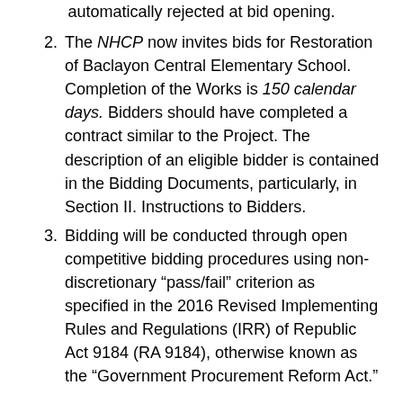automatically rejected at bid opening.
The NHCP now invites bids for Restoration of Baclayon Central Elementary School. Completion of the Works is 150 calendar days. Bidders should have completed a contract similar to the Project. The description of an eligible bidder is contained in the Bidding Documents, particularly, in Section II. Instructions to Bidders.
Bidding will be conducted through open competitive bidding procedures using non-discretionary “pass/fail” criterion as specified in the 2016 Revised Implementing Rules and Regulations (IRR) of Republic Act 9184 (RA 9184), otherwise known as the “Government Procurement Reform Act.”
Bidding is restricted to Filipino citizens/sole proprietorships, cooperatives, and partnerships or organizations with at least seventy five percent (75%) interest or outstanding capital stock belonging to